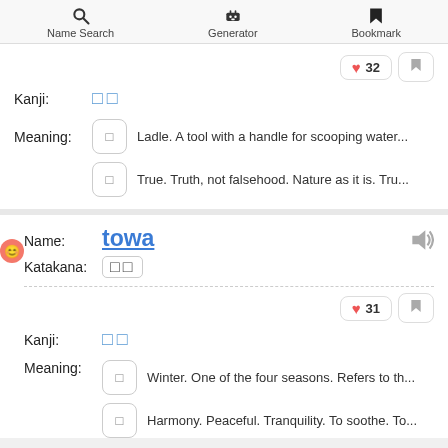Name Search  Generator  Bookmark
Kanji: [kanji chars]
Meaning: Ladle. A tool with a handle for scooping water...
Meaning: True. Truth, not falsehood. Nature as it is. Tru...
Name: towa
Katakana: [katakana chars]
Kanji: [kanji chars]
Meaning: Winter. One of the four seasons. Refers to th...
Meaning: Harmony. Peaceful. Tranquility. To soothe. To...